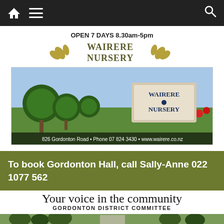Navigation bar with home, menu, and search icons
OPEN 7 DAYS 8.30am-5pm
WAIRERE NURSERY
[Figure (photo): Photo of Wairere Nursery garden with sculpted trees, roses, and a sign reading 'Wairere Nursery'. Caption at bottom: 826 Gordonton Road • Phone 07 824 3430 • www.wairere.co.nz]
To book Gordonton Hall, call Sally-Anne 022 1077 562
Your voice in the community
GORDONTON DISTRICT COMMITTEE
[Figure (photo): Partial photo of a building with trees in the background (Gordonton Hall area)]